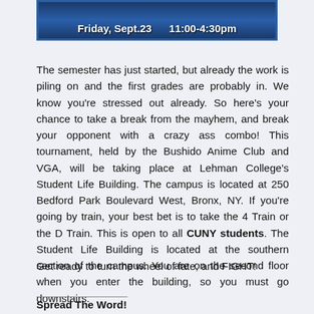[Figure (other): Banner image with text: Student Life Building / Room 110, Friday, Sept.23 / 11:00-4:30pm on a dark blue/navy background with border]
The semester has just started, but already the work is piling on and the first grades are probably in. We know you're stressed out already. So here's your chance to take a break from the mayhem, and break your opponent with a crazy ass combo! This tournament, held by the Bushido Anime Club and VGA, will be taking place at Lehman College's Student Life Building. The campus is located at 250 Bedford Park Boulevard West, Bronx, NY. If you're going by train, your best bet is to take the 4 Train or the D Train. This is open to all CUNY students. The Student Life Building is located at the southern section of the campus. You are on the second floor when you enter the building, so you must go downstairs.
Get ready to turn the wheel of fate, and FIGHT!
Spread The Word!